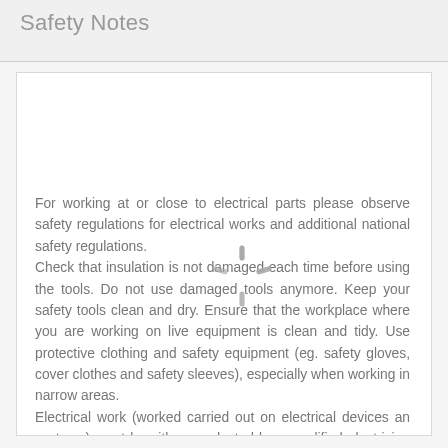Safety Notes
For working at or close to electrical parts please observe safety regulations for electrical works and additional national safety regulations.
Check that insulation is not damaged each time before using the tools. Do not use damaged tools anymore. Keep your safety tools clean and dry. Ensure that the workplace where you are working on live equipment is clean and tidy. Use protective clothing and safety equipment (eg. safety gloves, cover clothes and safety sleeves), especially when working in narrow areas.
Electrical work (worked carried out on electrical devices an systems) must be either conducted by a qualified electrician or supervised and checked by one.